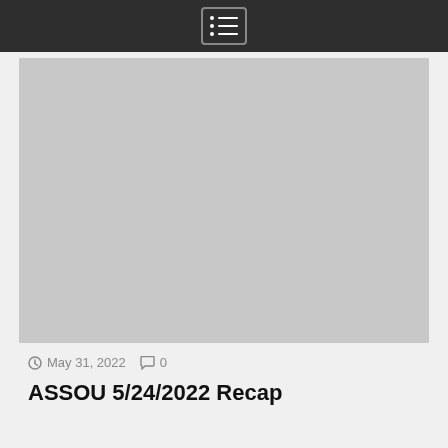[Navigation menu icon]
[Figure (photo): Large gray placeholder image area for an article thumbnail]
May 31, 2022   0
ASSOU 5/24/2022 Recap